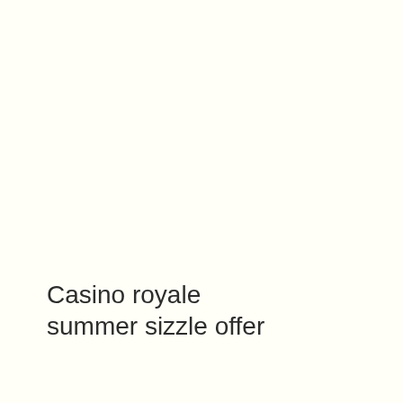Casino royale summer sizzle offer